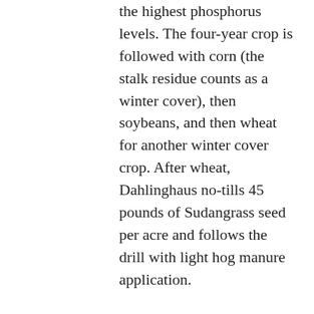the highest phosphorus levels. The four-year crop is followed with corn (the stalk residue counts as a winter cover), then soybeans, and then wheat for another winter cover crop. After wheat, Dahlinghaus no-tills 45 pounds of Sudangrass seed per acre and follows the drill with light hog manure application.
“I can get one or two cuttings of hay out of the Sudangrass, and the roots do great things. After 30 or 35 days I can get the first cutting,” he said. “It dies in the winter and it really loosens your dirt. I do two passes with a field cultivator and then plant corn the next spring.”
The Sudangrass smothers out weeds, sequesters phosphorus, requires no chemical control and, as long as it is 6 inches tall going into winter, it meets